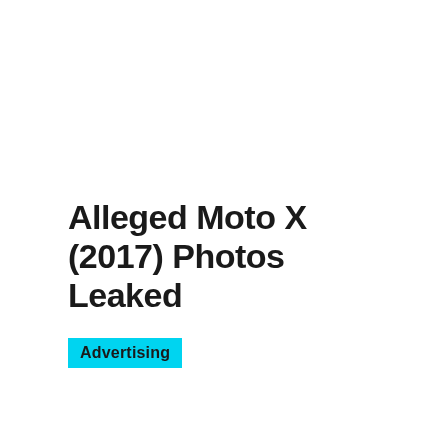Alleged Moto X (2017) Photos Leaked
Advertising